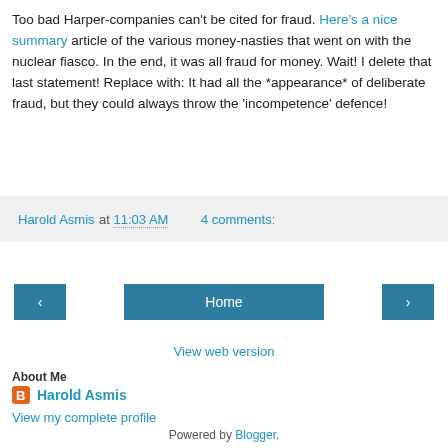Too bad Harper-companies can't be cited for fraud. Here's a nice summary article of the various money-nasties that went on with the nuclear fiasco. In the end, it was all fraud for money. Wait! I delete that last statement! Replace with: It had all the *appearance* of deliberate fraud, but they could always throw the 'incompetence' defence!
Harold Asmis at 11:03 AM   4 comments:
[Figure (other): Navigation buttons: left arrow, Home, right arrow]
View web version
About Me
Harold Asmis
View my complete profile
Powered by Blogger.